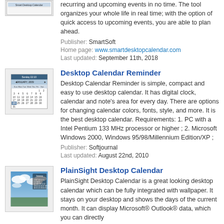recurring and upcoming events in no time. The tool organizes your whole life in real time; with the option of quick access to upcoming events, you are able to plan ahead.
Publisher: SmartSoft
Home page: www.smartdesktopcalendar.com
Last updated: September 11th, 2018
[Figure (screenshot): Desktop Calendar Reminder screenshot showing a calendar widget with Sunday 22:10 time display]
Desktop Calendar Reminder
Desktop Calendar Reminder is simple, compact and easy to use desktop calendar. It has digital clock, calendar and note's area for every day. There are options for changing calendar colors, fonts, style, and more. It is the best desktop calendar. Requirements: 1. PC with a Intel Pentium 133 MHz processor or higher ; 2. Microsoft Windows 2000, Windows 95/98/Millennium Edition/XP ;
Publisher: Softjournal
Last updated: August 22nd, 2010
[Figure (screenshot): PlainSight Desktop Calendar screenshot showing a sky/clouds desktop background with calendar overlay]
PlainSight Desktop Calendar
PlainSight Desktop Calendar is a great looking desktop calendar which can be fully integrated with wallpaper. It stays on your desktop and shows the days of the current month. It can display Microsoft® Outlook® data, which you can directly